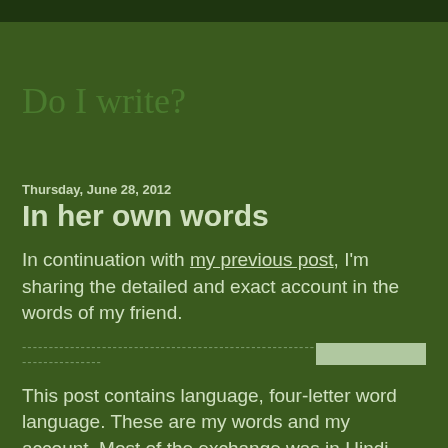Do I write?
Thursday, June 28, 2012
In her own words
In continuation with my previous post, I'm sharing the detailed and exact account in the words of my friend.
------------------------------------------------------------------------------------------------------------------------------------
This post contains language, four-letter word language. These are my words and my account. Most of the exchange was in Hindi, nearly everything I shouted was in English.